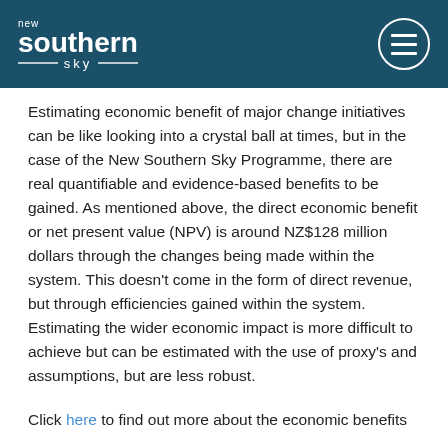new southern sky
Estimating economic benefit of major change initiatives can be like looking into a crystal ball at times, but in the case of the New Southern Sky Programme, there are real quantifiable and evidence-based benefits to be gained. As mentioned above, the direct economic benefit or net present value (NPV) is around NZ$128 million dollars through the changes being made within the system. This doesn't come in the form of direct revenue, but through efficiencies gained within the system. Estimating the wider economic impact is more difficult to achieve but can be estimated with the use of proxy's and assumptions, but are less robust.
Click here to find out more about the economic benefits